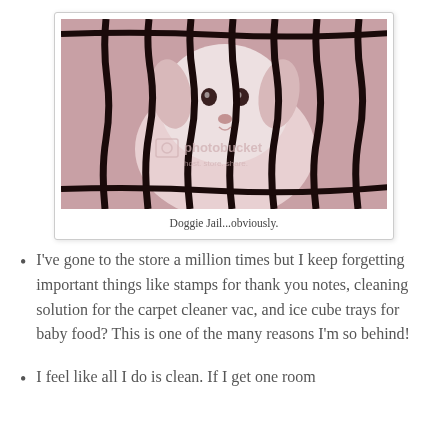[Figure (photo): A white fluffy dog looking through cage bars, photo with reddish-pink tint, watermarked with Photobucket logo]
Doggie Jail...obviously.
I've gone to the store a million times but I keep forgetting important things like stamps for thank you notes, cleaning solution for the carpet cleaner vac, and ice cube trays for baby food? This is one of the many reasons I'm so behind!
I feel like all I do is clean. If I get one room